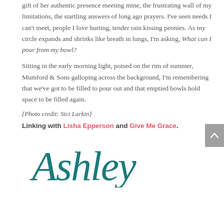gift of her authentic presence meeting mine, the frustrating wall of my limitations, the startling answers of long ago prayers. I've seen needs I can't meet, people I love hurting, tender rain kissing peonies. As my circle expands and shrinks like breath in lungs, I'm asking, What can I pour from my bowl?
Sitting in the early morning light, poised on the rim of summer, Mumford & Sons galloping across the background, I'm remembering that we've got to be filled to pour out and that emptied bowls hold space to be filled again.
{Photo credit: Sici Larkin}
Linking with Lisha Epperson and Give Me Grace.
[Figure (illustration): Handwritten cursive signature reading 'Ashley' in dark teal/green color]